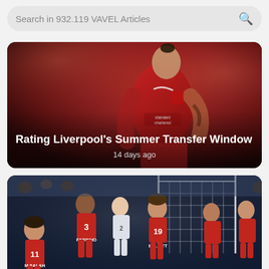Search in 932.119 VAVEL Articles
[Figure (screenshot): Article card showing a Liverpool FC player in red jersey (Darwin Nunez) with title 'Rating Liverpool's Summer Transfer Window' and timestamp '14 days ago']
[Figure (screenshot): Article card showing Liverpool FC players including Fabinho (3), M.Salah (11), and Elliott (19) on a football pitch near the goal]